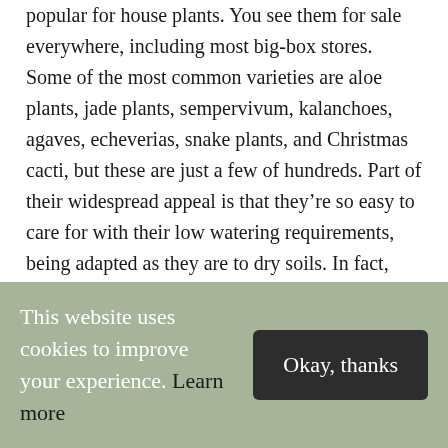popular for house plants. You see them for sale everywhere, including most big-box stores. Some of the most common varieties are aloe plants, jade plants, sempervivum, kalanchoes, agaves, echeverias, snake plants, and Christmas cacti, but these are just a few of hundreds. Part of their widespread appeal is that they’re so easy to care for with their low watering requirements, being adapted as they are to dry soils. In fact, one of the easiest ways to kill a cactus or a succulent is to overwater it.
This website uses cookies to improve your experience. Learn more